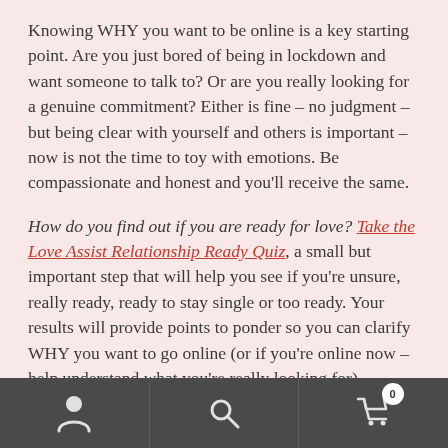Knowing WHY you want to be online is a key starting point. Are you just bored of being in lockdown and want someone to talk to? Or are you really looking for a genuine commitment? Either is fine – no judgment – but being clear with yourself and others is important – now is not the time to toy with emotions. Be compassionate and honest and you'll receive the same.
How do you find out if you are ready for love? Take the Love Assist Relationship Ready Quiz, a small but important step that will help you see if you're unsure, really ready, ready to stay single or too ready. Your results will provide points to ponder so you can clarify WHY you want to go online (or if you're online now – help understand what you're really looking for).
[Figure (other): Mobile navigation footer bar with three icons: person/account icon, search icon, and shopping cart icon with badge showing 0]